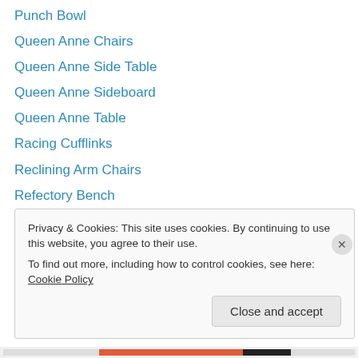Punch Bowl
Queen Anne Chairs
Queen Anne Side Table
Queen Anne Sideboard
Queen Anne Table
Racing Cufflinks
Reclining Arm Chairs
Refectory Bench
Refectory Dining Table
refectory tables
Regency Bamboo Desk
regency bookcase
Regency Cabinet
Privacy & Cookies: This site uses cookies. By continuing to use this website, you agree to their use. To find out more, including how to control cookies, see here: Cookie Policy